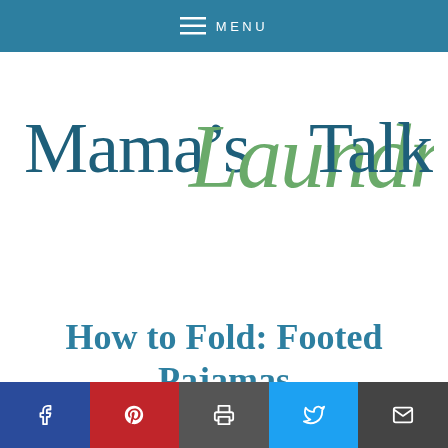MENU
[Figure (logo): Mama's Laundry Talk logo — serif text 'Mama's' and 'Talk' in dark teal, stylized script 'Laundry' in sage green]
How to Fold: Footed Pajamas